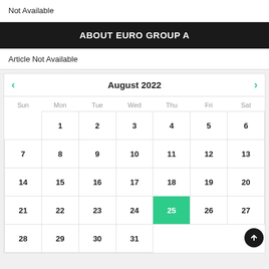Not Available
ABOUT EURO GROUP A
Article Not Available
[Figure (other): August 2022 calendar with navigation arrows. Days 1-31 shown in a grid. Day 25 is highlighted in green. A scroll-to-top button appears at bottom right.]